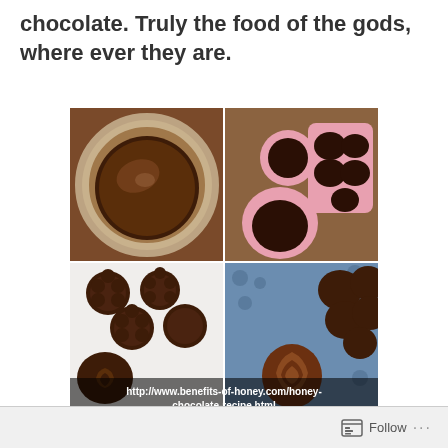chocolate. Truly the food of the gods, where ever they are.
[Figure (photo): Four-panel photo collage of honey chocolate recipe: top-left shows melted chocolate in a bowl, top-right shows chocolate pieces in pink silicone molds, bottom-left shows finished flower and rose shaped dark chocolates on white surface, bottom-right shows chocolate rose bud and textured chocolate pieces on a blue patterned cloth. URL overlay at bottom: http://www.benefits-of-honey.com/honey-chocolate-recipe.html]
Follow